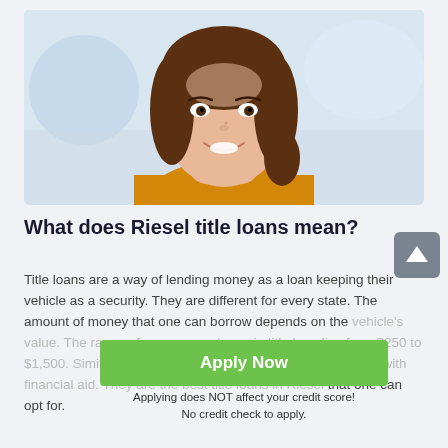[Figure (photo): Smiling young woman with brown curly hair wearing a yellow top, resting her chin on her hands, blurred background]
What does Riesel title loans mean?
[Figure (infographic): Gray scroll-to-top button with white upward arrow]
Title loans are a way of lending money as a loan keeping their vehicle as a security. They are different for every state. The amount of money that one can borrow depends on the vehicle's value. The range of money as a loan via title loan lies from $250 to $1,500. Similarly, there are Riesel title loans to help anyone with financial aid. They are the best title loans in Riesel that one can opt for.
[Figure (infographic): Green Apply Now button with subtext: Applying does NOT affect your credit score! No credit check to apply.]